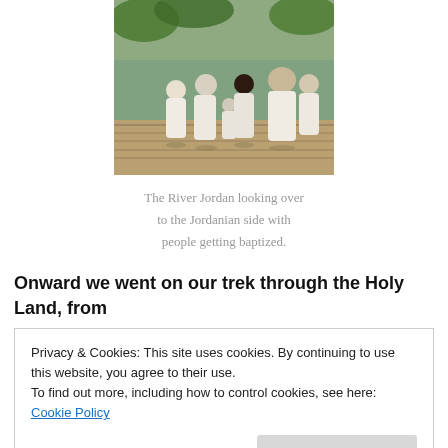[Figure (photo): Group of people in white robes standing on a wooden dock by a river, with trees visible in the background — baptism scene at the River Jordan.]
The River Jordan looking over to the Jordanian side with people getting baptized.
Onward we went on our trek through the Holy Land, from
Privacy & Cookies: This site uses cookies. By continuing to use this website, you agree to their use.
To find out more, including how to control cookies, see here: Cookie Policy
prominent role in our next destination, Joshua and his